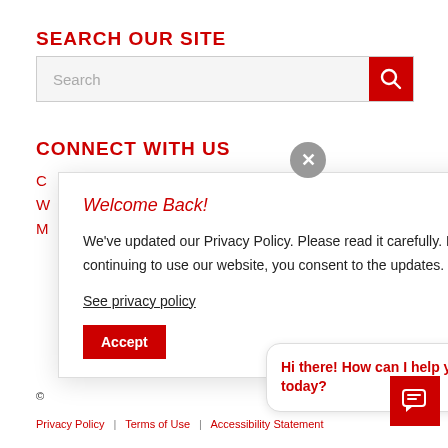SEARCH OUR SITE
[Figure (screenshot): Search bar with red search button and magnifying glass icon]
CONNECT WITH US
C
W
M
[Figure (screenshot): Privacy policy modal dialog with 'Welcome Back!' heading, privacy policy update text, 'See privacy policy' link, and Accept button. Overlapping close (X) button.]
Hi there! How can I help you today?
Privacy Policy | Terms of Use | Accessibility Statement